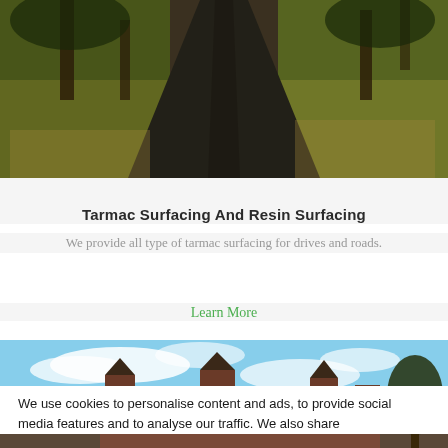[Figure (photo): Aerial/ground view of a dark tarmac/asphalt path or driveway flanked by grass and trees with fallen autumn leaves]
Tarmac Surfacing And Resin Surfacing
We provide all type of tarmac surfacing for drives and roads.
Learn More
[Figure (photo): Exterior photograph of a large Victorian-era red brick building with distinctive turrets/towers against a blue sky with clouds]
We use cookies to personalise content and ads, to provide social media features and to analyse our traffic. We also share